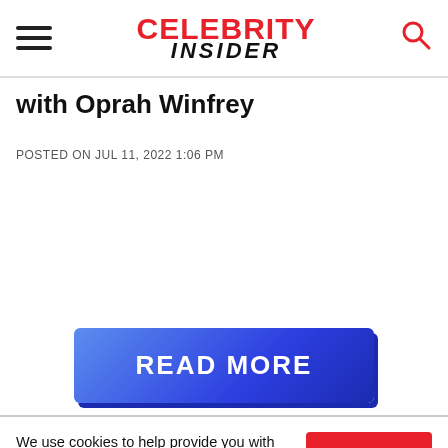Celebrity Insider
with Oprah Winfrey
POSTED ON JUL 11, 2022 1:06 PM
[Figure (other): READ MORE button - blue gradient rectangular button with white bold text]
We use cookies to help provide you with the best possible online experience. Please read our Privacy Policy for information about which cookies we use and what information we collect on our site. By continuing to use this site, you agree that we may store and access cookies on your device.